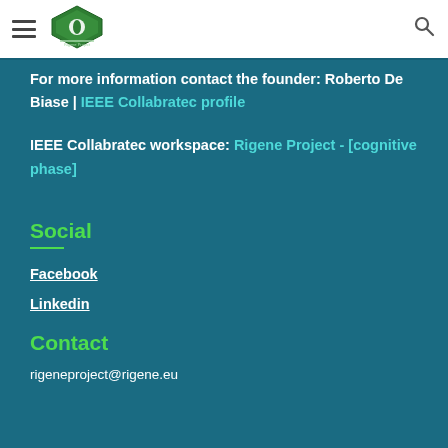[Figure (logo): Rigene Project diamond-shaped green and white logo in website navigation bar]
For more information contact the founder: Roberto De Biase | IEEE Collabratec profile
IEEE Collabratec workspace: Rigene Project - [cognitive phase]
Social
Facebook
Linkedin
Contact
rigeneproject@rigene.eu